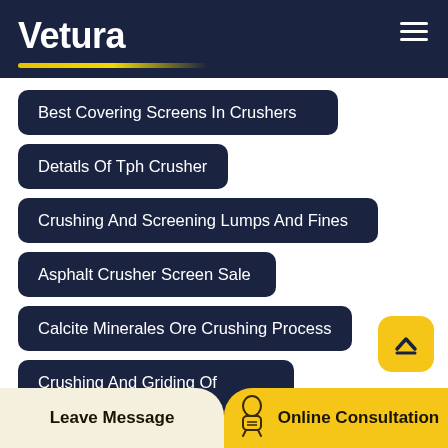Vetura
Best Covering Screens In Crushers
Detatls Of Tph Crusher
Crushing And Screening Lumps And Fines
Asphalt Crusher Screen Sale
Calcite Minerales Ore Crushing Process
Crushing And Griding Of Platinum
Leave Message | Online Consultation